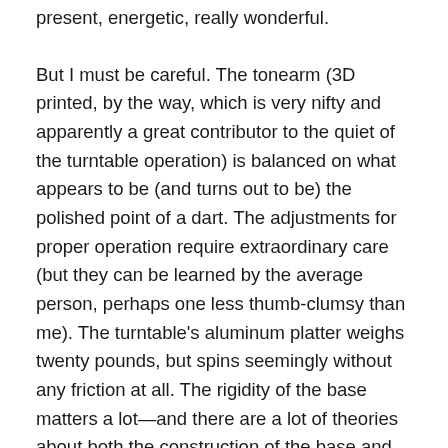present, energetic, really wonderful.
But I must be careful. The tonearm (3D printed, by the way, which is very nifty and apparently a great contributor to the quiet of the turntable operation) is balanced on what appears to be (and turns out to be) the polished point of a dart. The adjustments for proper operation require extraordinary care (but they can be learned by the average person, perhaps one less thumb-clumsy than me). The turntable's aluminum platter weighs twenty pounds, but spins seemingly without any friction at all. The rigidity of the base matters a lot—and there are a lot of theories about both the construction of the base and the necessary weight of the platter—but here, there's an 11 gauge steel plate holding fast to the MDF base. Overall, the VPI Prime feels very strong and well-made, but the tone arm assembly, with its exposed rear cable and its